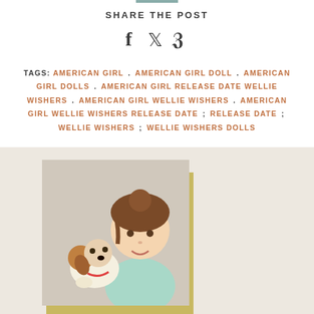SHARE THE POST
[Figure (illustration): Social media share icons: Facebook (f), Twitter (bird), Pinterest (P)]
TAGS: AMERICAN GIRL . AMERICAN GIRL DOLL . AMERICAN GIRL DOLLS . AMERICAN GIRL RELEASE DATE WELLIE WISHERS . AMERICAN GIRL WELLIE WISHERS . AMERICAN GIRL WELLIE WISHERS RELEASE DATE : RELEASE DATE : WELLIE WISHERS : WELLIE WISHERS DOLLS
[Figure (photo): Author photo showing a doll with brown hair holding a stuffed dog toy, with a teal/mint colored outfit]
POSTED BY DARA ANN
hi, i'm dara! i started this blog with my sister dacey back in 2014 and have been photographing dolls ever since. a passionate american girl